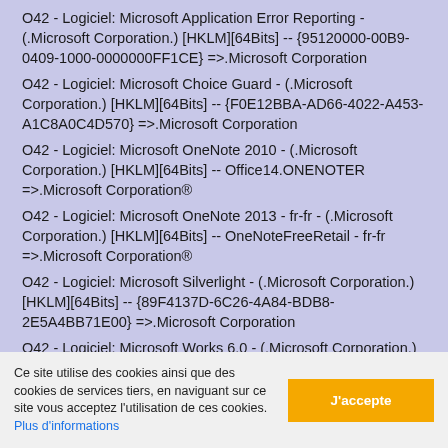O42 - Logiciel: Microsoft Application Error Reporting - (.Microsoft Corporation.) [HKLM][64Bits] -- {95120000-00B9-0409-1000-0000000FF1CE} =>.Microsoft Corporation
O42 - Logiciel: Microsoft Choice Guard - (.Microsoft Corporation.) [HKLM][64Bits] -- {F0E12BBA-AD66-4022-A453-A1C8A0C4D570} =>.Microsoft Corporation
O42 - Logiciel: Microsoft OneNote 2010 - (.Microsoft Corporation.) [HKLM][64Bits] -- Office14.ONENOTER =>.Microsoft Corporation®
O42 - Logiciel: Microsoft OneNote 2013 - fr-fr - (.Microsoft Corporation.) [HKLM][64Bits] -- OneNoteFreeRetail - fr-fr =>.Microsoft Corporation®
O42 - Logiciel: Microsoft Silverlight - (.Microsoft Corporation.) [HKLM][64Bits] -- {89F4137D-6C26-4A84-BDB8-2E5A4BB71E00} =>.Microsoft Corporation
O42 - Logiciel: Microsoft Works 6.0 - (.Microsoft Corporation.) [HKLM][64Bits] -- {75DEB69B-4B6C-11D4-B0CE-00AA00BCC218} =>.Microsoft Corporation
O42 - Logiciel: MSVCRT - (.Microsoft.) [HKLM][64Bits] -- {33B775E7-6C42-4FC5-8E10-9A5E3257BD94} =>.Microsoft
Ce site utilise des cookies ainsi que des cookies de services tiers, en naviguant sur ce site vous acceptez l'utilisation de ces cookies. Plus d'informations